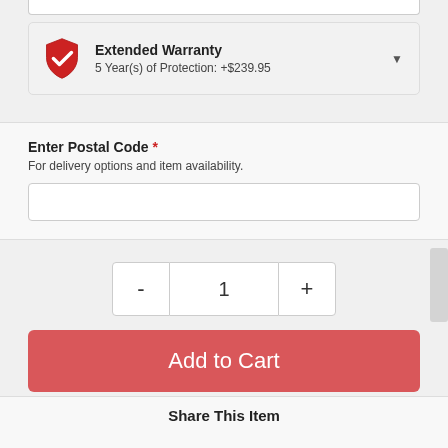[Figure (screenshot): Extended Warranty section with red shield icon, title 'Extended Warranty', subtitle '5 Year(s) of Protection: +$239.95', and a dropdown arrow]
Enter Postal Code *
For delivery options and item availability.
[Figure (infographic): Quantity selector with minus (-), 1, and plus (+) buttons]
Add to Cart
Apply for Financing
Share This Item